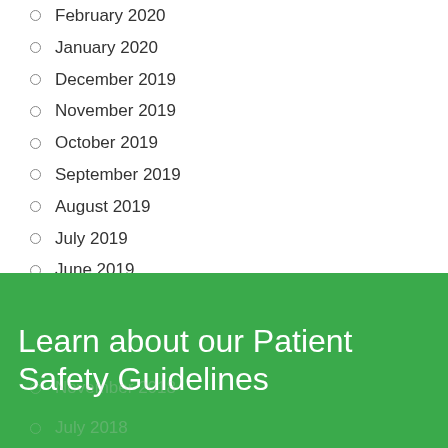February 2020
January 2020
December 2019
November 2019
October 2019
September 2019
August 2019
July 2019
June 2019
May 2019
April 2019
March 2019
February 2019
Learn about our Patient Safety Guidelines